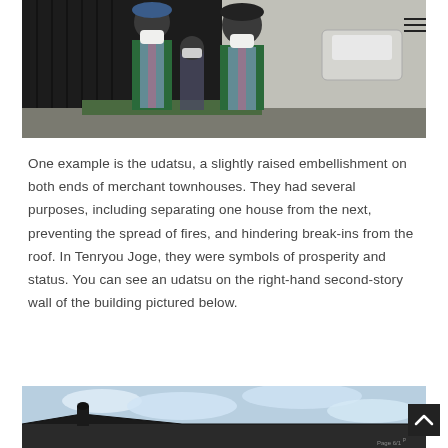[Figure (photo): Two men wearing green robes and masks with red sashes standing in front of a dark wooden gate/wall structure. A woman in a mask stands behind them. A white car is visible in the background to the right.]
One example is the udatsu, a slightly raised embellishment on both ends of merchant townhouses. They had several purposes, including separating one house from the next, preventing the spread of fires, and hindering break-ins from the roof. In Tenryou Joge, they were symbols of prosperity and status. You can see an udatsu on the right-hand second-story wall of the building pictured below.
[Figure (photo): Partial view of a traditional Japanese building rooftop against a cloudy sky, showing the architecture from below.]